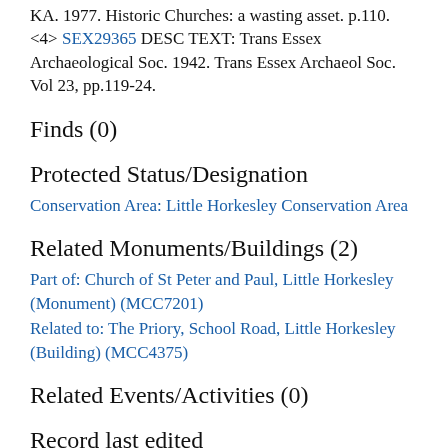KA. 1977. Historic Churches: a wasting asset. p.110.
<4> SEX29365 DESC TEXT: Trans Essex Archaeological Soc. 1942. Trans Essex Archaeol Soc. Vol 23, pp.119-24.
Finds (0)
Protected Status/Designation
Conservation Area: Little Horkesley Conservation Area
Related Monuments/Buildings (2)
Part of: Church of St Peter and Paul, Little Horkesley (Monument) (MCC7201)
Related to: The Priory, School Road, Little Horkesley (Building) (MCC4375)
Related Events/Activities (0)
Record last edited
Sep 14 2016 3:20PM